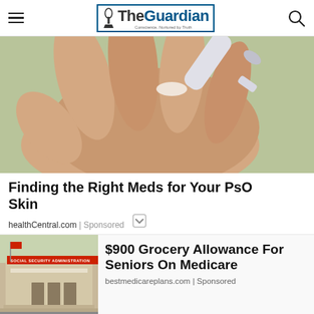The Guardian — Conscience, Nurtured by Truth
[Figure (photo): Close-up photo of a hand with a cream tube being squeezed, dispensing product onto an open palm, green blurred background]
Finding the Right Meds for Your PsO Skin
healthCentral.com | Sponsored
[Figure (photo): Photo of Social Security Administration building exterior with sign]
$900 Grocery Allowance For Seniors On Medicare
bestmedicareplans.com | Sponsored
Jubna